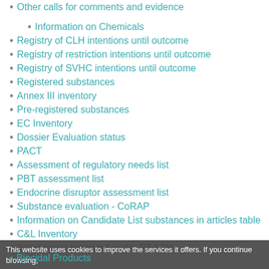Other calls for comments and evidence
Information on Chemicals
Registry of CLH intentions until outcome
Registry of restriction intentions until outcome
Registry of SVHC intentions until outcome
Registered substances
Annex III inventory
Pre-registered substances
EC Inventory
Dossier Evaluation status
PACT
Assessment of regulatory needs list
PBT assessment list
Endocrine disruptor assessment list
Substance evaluation - CoRAP
Information on Candidate List substances in articles table
C&L Inventory
Substances restricted under REACH
This website uses cookies to improve the services it offers. If you continue browsing,
Biocidal Products